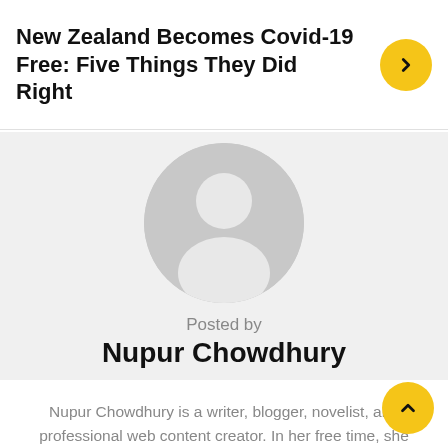New Zealand Becomes Covid-19 Free: Five Things They Did Right
[Figure (illustration): Default user avatar placeholder: grey circle with white silhouette of a person (head and shoulders)]
Posted by
Nupur Chowdhury
Nupur Chowdhury is a writer, blogger, novelist, and professional web content creator. In her free time, she can be found reading pulp fiction, binging on TV shows, or playing with her cat – sometimes all three at once. You can check out her blog for all the